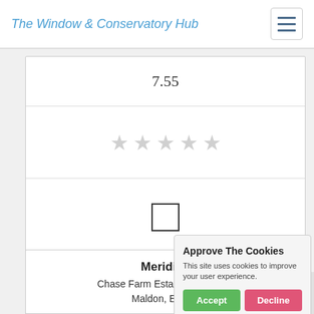The Window & Conservatory Hub
| 7.55 |
| ★★★★★ |
| ☐ |
| Get a Quote |
| Meridian |
| Chase Farm Estate, Hyde Ch... | Maldon, Esse... |
[Figure (screenshot): Cookie consent popup with title 'Approve The Cookies', body text 'This site uses cookies to improve your user experience.', Accept and Decline buttons, and a Cookie policy link.]